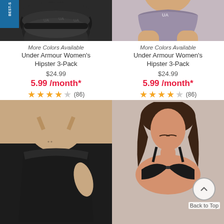[Figure (photo): Three black Under Armour women's hipster panties stacked, with a Best Seller badge in top left corner]
More Colors Available
Under Armour Women's Hipster 3-Pack
$24.99
5.99 /month*
★★★★☆ (86)
[Figure (photo): Woman wearing purple/mauve Under Armour women's hipster panty]
More Colors Available
Under Armour Women's Hipster 3-Pack
$24.99
5.99 /month*
★★★★☆ (86)
[Figure (photo): Woman wearing black high-waisted shapewear skirt with beige top]
[Figure (photo): Plus-size woman wearing black bra, with Back to Top button overlay]